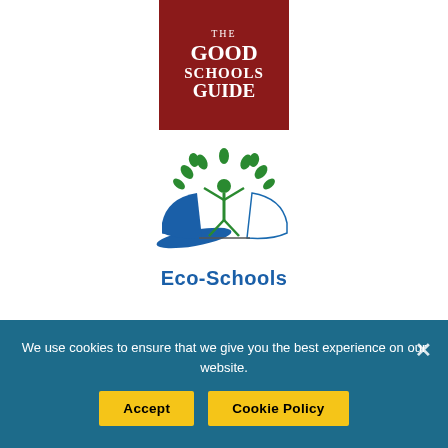[Figure (logo): The Good Schools Guide logo — dark red/maroon square with white serif text reading THE GOOD SCHOOLS GUIDE]
[Figure (logo): Eco-Schools logo — green tree made of leaf/tulip shapes above an open book (blue left page, white right page) with a green stick figure person in center, and bold blue text 'Eco-Schools' below]
[Figure (logo): Trained To Teach circular badge/seal logo — circular text around a clock-like graphic]
We use cookies to ensure that we give you the best experience on our website.
Accept
Cookie Policy